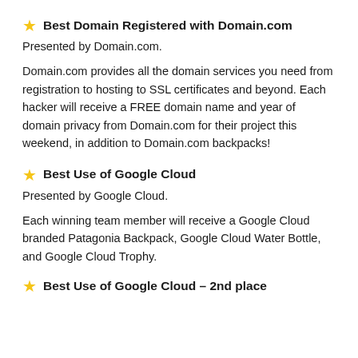⭐ Best Domain Registered with Domain.com
Presented by Domain.com.
Domain.com provides all the domain services you need from registration to hosting to SSL certificates and beyond. Each hacker will receive a FREE domain name and year of domain privacy from Domain.com for their project this weekend, in addition to Domain.com backpacks!
⭐ Best Use of Google Cloud
Presented by Google Cloud.
Each winning team member will receive a Google Cloud branded Patagonia Backpack, Google Cloud Water Bottle, and Google Cloud Trophy.
⭐ Best Use of Google Cloud – 2nd place